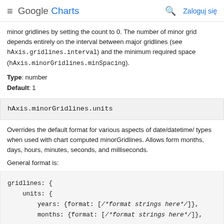≡ Google Charts  🔍 Zaloguj się
minor gridlines by setting the count to 0. The number of minor grid depends entirely on the interval between major gridlines (see hAxis.gridlines.interval) and the minimum required space (hAxis.minorGridlines.minSpacing).
Type: number
Default: 1
hAxis.minorGridlines.units
Overrides the default format for various aspects of date/datetime/ types when used with chart computed minorGridlines. Allows form months, days, hours, minutes, seconds, and milliseconds.
General format is:
gridlines: {
    units: {
        years: {format: [/*format strings here*/]},
        months: {format: [/*format strings here*/]},